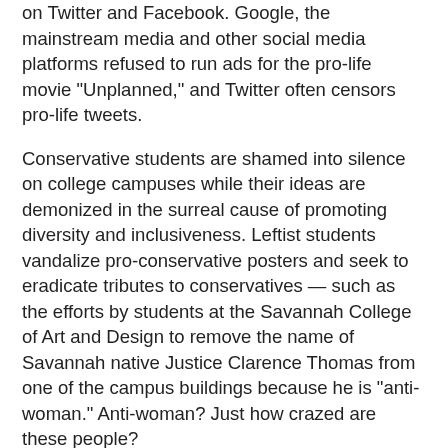on Twitter and Facebook. Google, the mainstream media and other social media platforms refused to run ads for the pro-life movie "Unplanned," and Twitter often censors pro-life tweets.
Conservative students are shamed into silence on college campuses while their ideas are demonized in the surreal cause of promoting diversity and inclusiveness. Leftist students vandalize pro-conservative posters and seek to eradicate tributes to conservatives — such as the efforts by students at the Savannah College of Art and Design to remove the name of Savannah native Justice Clarence Thomas from one of the campus buildings because he is "anti-woman." Anti-woman? Just how crazed are these people?
Students at the University of California, Davis protested a photo of a heroic slain woman police officer holding a Thin Blue Line flag as "anti-black" and "disrespectful." For some, nothing is sacred, and to those lusting after another opportunity to be offended, everything is a provocation. Leftist protestors pepper-sprayed a group of high school kids